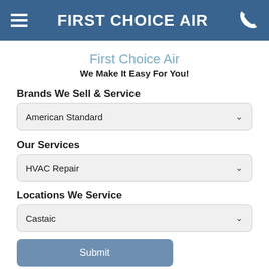FIRST CHOICE AIR
First Choice Air
We Make It Easy For You!
Brands We Sell & Service
American Standard
Our Services
HVAC Repair
Locations We Service
Castaic
Submit